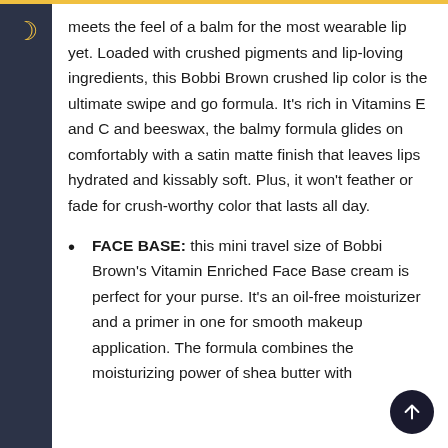meets the feel of a balm for the most wearable lip yet. Loaded with crushed pigments and lip-loving ingredients, this Bobbi Brown crushed lip color is the ultimate swipe and go formula. It's rich in Vitamins E and C and beeswax, the balmy formula glides on comfortably with a satin matte finish that leaves lips hydrated and kissably soft. Plus, it won't feather or fade for crush-worthy color that lasts all day.
FACE BASE: this mini travel size of Bobbi Brown's Vitamin Enriched Face Base cream is perfect for your purse. It's an oil-free moisturizer and a primer in one for smooth makeup application. The formula combines the moisturizing power of shea butter with